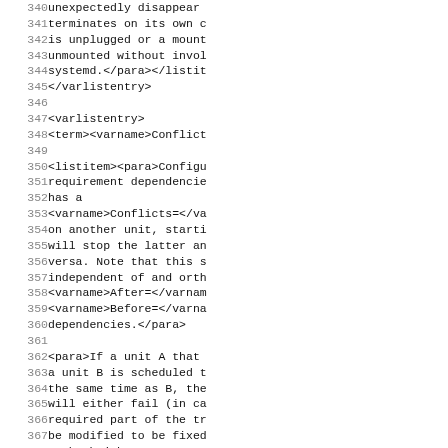Code listing lines 340-371 showing XML/DocBook source content related to systemd unit configuration, varlistentry elements, Conflicts= dependency documentation.